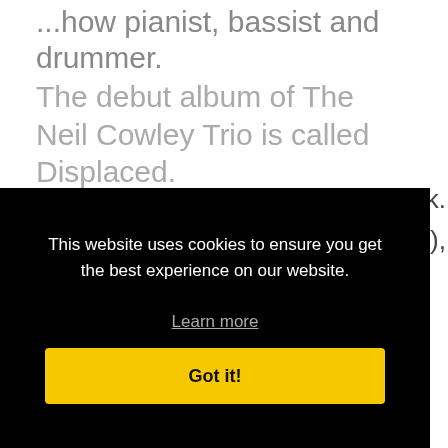...how pianist, bassist and drummer.
The debut album of The Neil Cowley Trio is called Displaced.
The Hub
This website uses cookies to ensure you get the best experience on our website.
Learn more
Got it!